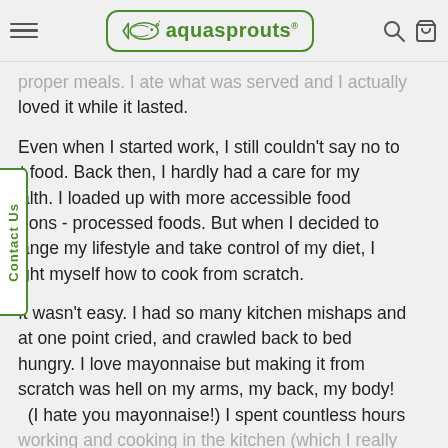aquasprouts
proper meals. I ate what was served and I actually loved it while it lasted.
Even when I started work, I still couldn't say no to jt food. Back then, I hardly had a care for my alth. I loaded up with more accessible food tions - processed foods. But when I decided to ange my lifestyle and take control of my diet, I ght myself how to cook from scratch.
It wasn't easy. I had so many kitchen mishaps and at one point cried, and crawled back to bed hungry. I love mayonnaise but making it from scratch was hell on my arms, my back, my body! (I hate you mayonnaise!) I spent countless hours working and cooking in the kitchen (which I really